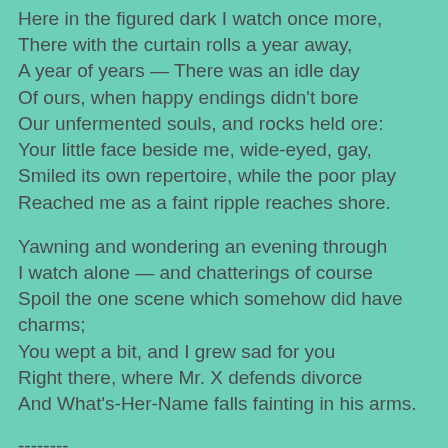Here in the figured dark I watch once more,
There with the curtain rolls a year away,
A year of years — There was an idle day
Of ours, when happy endings didn't bore
Our unfermented souls, and rocks held ore:
Your little face beside me, wide-eyed, gay,
Smiled its own repertoire, while the poor play
Reached me as a faint ripple reaches shore.
Yawning and wondering an evening through
I watch alone — and chatterings of course
Spoil the one scene which somehow did have charms;
You wept a bit, and I grew sad for you
Right there, where Mr. X defends divorce
And What's-Her-Name falls fainting in his arms.
--------
After a quiet morning organizing and printing photos to take with us, we spent Saturday afternoon with Paul's parents in Thurmont, where we ate lunch at Simply Asia, watched wedding video and looked at California photos, then went out